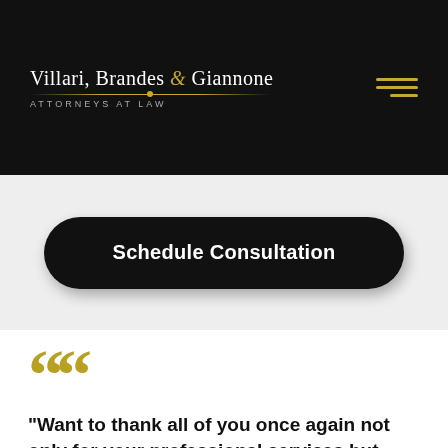Villari, Brandes & Giannone — ATTORNEYS AT LAW
Schedule Consultation
"Want to thank all of you once again not only for your professional services but